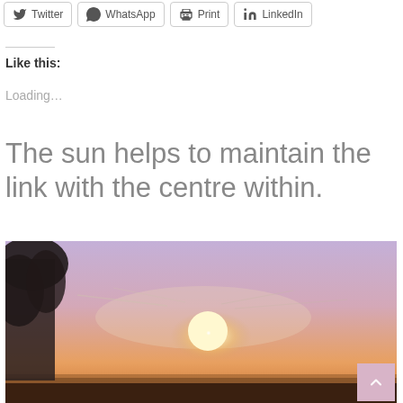[Figure (other): Row of social share buttons: Twitter, WhatsApp, Print, LinkedIn]
Like this:
Loading...
The sun helps to maintain the link with the centre within.
[Figure (photo): Sunset photo showing the sun low on the horizon with silhouetted trees on the left, warm orange and purple sky tones, with a 'back to top' pink button in the bottom right corner.]